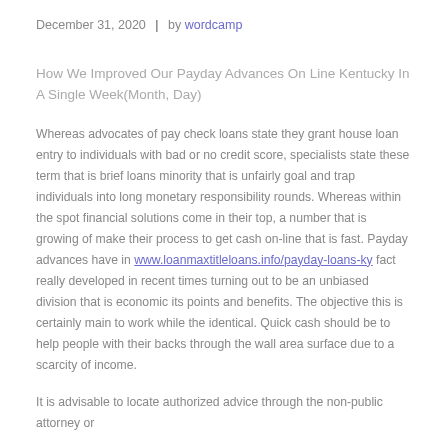December 31, 2020  |  by wordcamp
How We Improved Our Payday Advances On Line Kentucky In A Single Week(Month, Day)
Whereas advocates of pay check loans state they grant house loan entry to individuals with bad or no credit score, specialists state these term that is brief loans minority that is unfairly goal and trap individuals into long monetary responsibility rounds. Whereas within the spot financial solutions come in their top, a number that is growing of make their process to get cash on-line that is fast. Payday advances have in www.loanmaxtitleloans.info/payday-loans-ky fact really developed in recent times turning out to be an unbiased division that is economic its points and benefits. The objective this is certainly main to work while the identical. Quick cash should be to help people with their backs through the wall area surface due to a scarcity of income.
It is advisable to locate authorized advice through the non-public attorney or